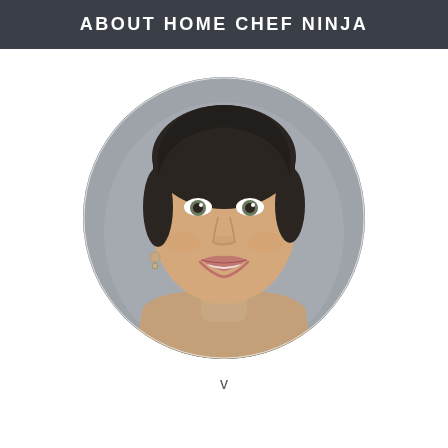ABOUT HOME CHEF NINJA
[Figure (photo): Circular cropped headshot portrait of a woman with dark hair pulled back, smiling, against a blurred grey background.]
v